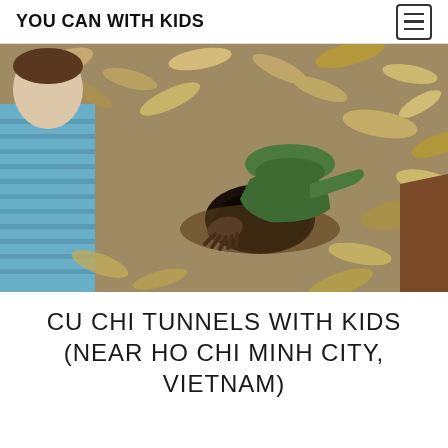YOU CAN WITH KIDS
[Figure (photo): A person wearing a green hat and green outfit crouching and entering a small tunnel opening in the ground covered with dry leaves. A child in a blue striped shirt watches from the left side. Another person is partially visible on the right.]
CU CHI TUNNELS WITH KIDS (NEAR HO CHI MINH CITY, VIETNAM)